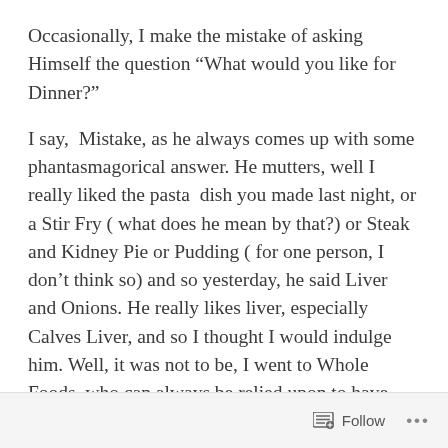Occasionally, I make the mistake of asking Himself the question “What would you like for Dinner?”
I say,  Mistake, as he always comes up with some phantasmagorical answer. He mutters, well I really liked the pasta  dish you made last night, or a Stir Fry ( what does he mean by that?) or Steak and Kidney Pie or Pudding ( for one person, I don’t think so) and so yesterday, he said Liver and Onions. He really likes liver, especially Calves Liver, and so I thought I would indulge him. Well, it was not to be, I went to Whole Foods, who can always be relied upon to have good meat, but not a bit of Offal in sight. SO that threw me a bit, and I wandered into Marks and Spencers food hall as I
Follow ...